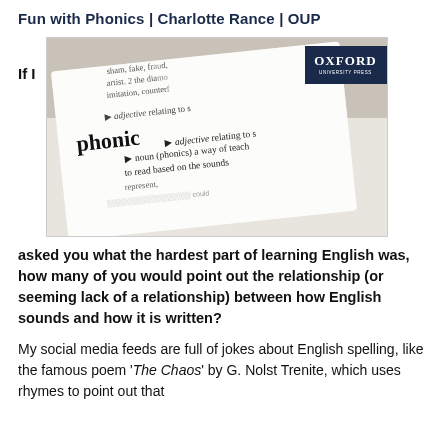Fun with Phonics | Charlotte Rance | OUP
If I
[Figure (photo): Close-up photograph of a dictionary entry for the word 'phonic', showing the definition as adjective relating to sound and noun (phonics) a way of teaching reading based on the sounds. Oxford University Press logo badge in top right corner.]
asked you what the hardest part of learning English was, how many of you would point out the relationship (or seeming lack of a relationship) between how English sounds and how it is written?
My social media feeds are full of jokes about English spelling, like the famous poem 'The Chaos' by G. Nolst Trenite, which uses rhymes to point out that